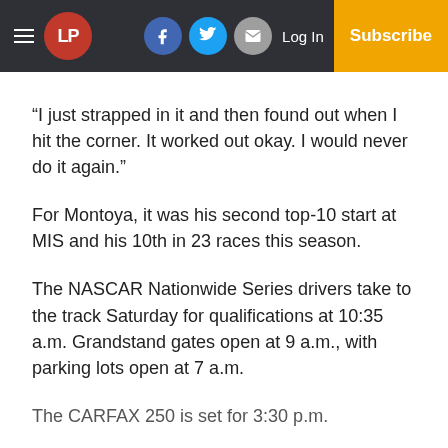LP | Log In | Subscribe
“I just strapped in it and then found out when I hit the corner. It worked out okay. I would never do it again.”
For Montoya, it was his second top-10 start at MIS and his 10th in 23 races this season.
The NASCAR Nationwide Series drivers take to the track Saturday for qualifications at 10:35 a.m. Grandstand gates open at 9 a.m., with parking lots open at 7 a.m.
The CARFAX 250 is set for 3:30 p.m.